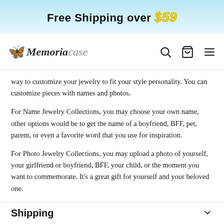[Figure (infographic): Blue sky banner with text: Free Shipping over $59]
Memoriacase — navigation bar with search, cart, and menu icons
way to customize your jewelry to fit your style personality. You can customize pieces with names and photos.
For Name Jewelry Collections, you may choose your own name, other options would be to get the name of a boyfriend, BFF, pet, parent, or even a favorite word that you use for inspiration.
For Photo Jewelry Collections, you may upload a photo of yourself, your girlfriend or boyfriend, BFF, your child, or the moment you want to commemorate. It's a great gift for yourself and your beloved one.
Shipping